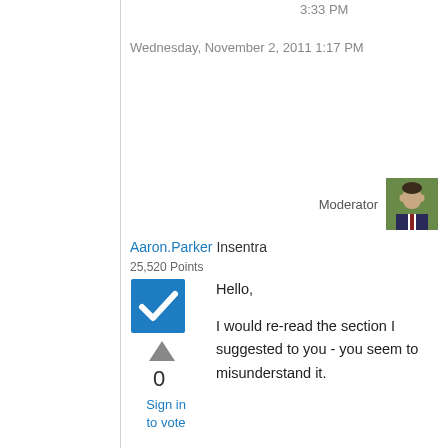3:33 PM
Wednesday, November 2, 2011 1:17 PM
Moderator
[Figure (photo): User avatar photo of Aaron Parker, a man in a suit]
Aaron.Parker Insentra 25,520 Points
[Figure (other): Blue checkbox with white checkmark icon]
[Figure (other): Grey upward triangle arrow for upvoting]
0
Sign in to vote
Hello,

I would re-read the section I suggested to you - you seem to misunderstand it.